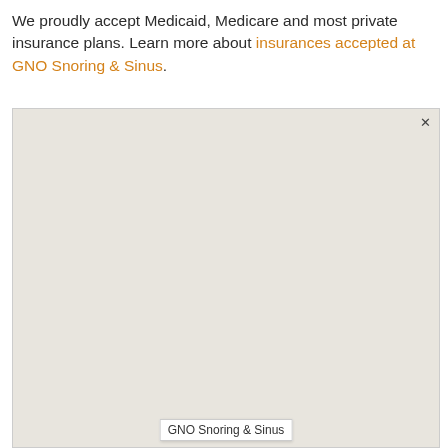We proudly accept Medicaid, Medicare and most private insurance plans. Learn more about insurances accepted at GNO Snoring & Sinus.
[Figure (map): A Google Maps-style map showing the location of GNO Snoring & Sinus. The map has a light beige/grey background with a close button (×) in the top right corner and a label 'GNO Snoring & Sinus' in the center of the map.]